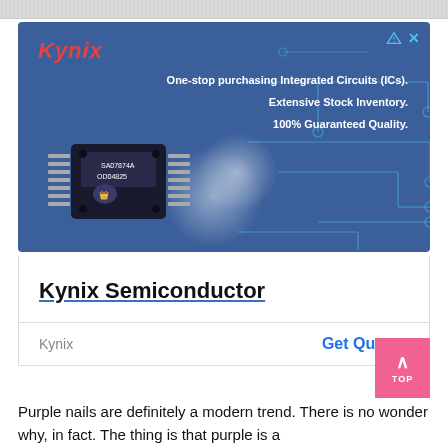[Figure (infographic): Kynix Semiconductor advertisement banner with blue background, circuit board pattern, IC chip image, and text: One-stop purchasing Integrated Circuits (ICs). Extensive Stock Inventory. 100% Guaranteed Quality.]
Kynix Semiconductor
Kynix   Get Quote >
Purple nails are definitely a modern trend. There is no wonder why, in fact. The thing is that purple is a